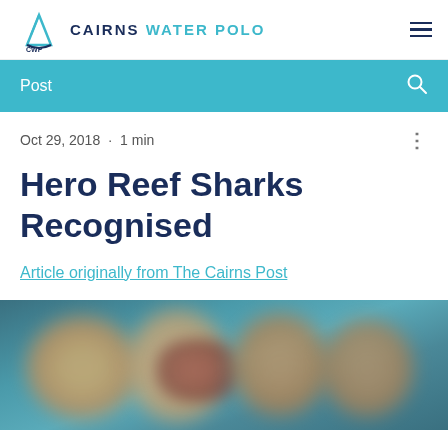CAIRNS WATER POLO
Post
Oct 29, 2018 · 1 min
Hero Reef Sharks Recognised
Article originally from The Cairns Post
[Figure (photo): Blurred photo of water polo players in a pool, multiple people visible from upper body, teal/blue water background]